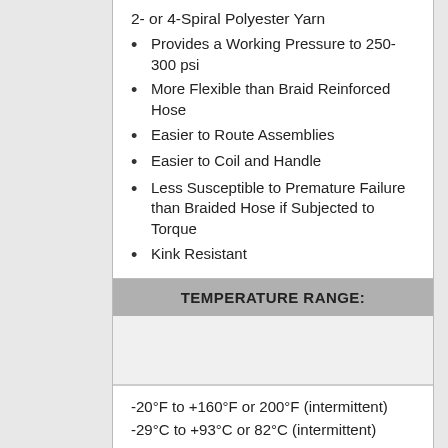2- or 4-Spiral Polyester Yarn
Provides a Working Pressure to 250-300 psi
More Flexible than Braid Reinforced Hose
Easier to Route Assemblies
Easier to Coil and Handle
Less Susceptible to Premature Failure than Braided Hose if Subjected to Torque
Kink Resistant
TEMPERATURE RANGE:
-20°F to +160°F or 200°F (intermittent)
-29°C to +93°C or 82°C (intermittent)